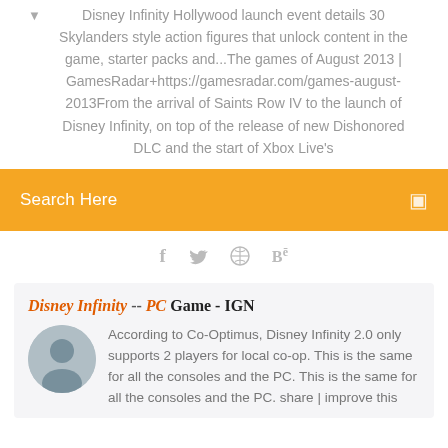Disney Infinity Hollywood launch event details 30 Skylanders style action figures that unlock content in the game, starter packs and...The games of August 2013 | GamesRadar+https://gamesradar.com/games-august-2013From the arrival of Saints Row IV to the launch of Disney Infinity, on top of the release of new Dishonored DLC and the start of Xbox Live's
[Figure (other): Orange search bar with 'Search Here' placeholder text and a search icon on the right]
[Figure (other): Social media icons row: Facebook (f), Twitter (bird), a circular icon, and Behance (Be)]
Disney Infinity -- PC Game - IGN
According to Co-Optimus, Disney Infinity 2.0 only supports 2 players for local co-op. This is the same for all the consoles and the PC. This is the same for all the consoles and the PC. share | improve this